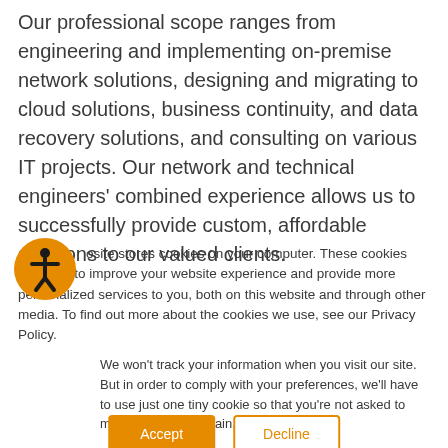Our professional scope ranges from engineering and implementing on-premise network solutions, designing and migrating to cloud solutions, business continuity, and data recovery solutions, and consulting on various IT projects. Our network and technical engineers' combined experience allows us to successfully provide custom, affordable solutions to our valued clients.
[Figure (illustration): Orange circle accessibility icon with a human figure symbol inside]
osite stores cookies on your computer. These cookies are used to improve your website experience and provide more personalized services to you, both on this website and through other media. To find out more about the cookies we use, see our Privacy Policy.
We won't track your information when you visit our site. But in order to comply with your preferences, we'll have to use just one tiny cookie so that you're not asked to make this choice again.
Accept
Decline